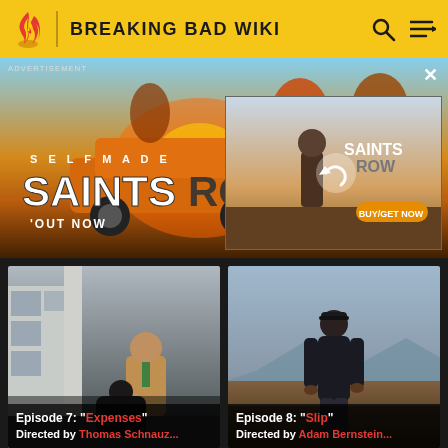BREAKING BAD WIKI
[Figure (screenshot): Saints Row video game advertisement banner with action scene, 'SELF MADE SAINTS ROW OUT NOW' text, and a smaller overlay preview image]
[Figure (screenshot): Episode 7 still image: man in tan suit sitting against a wall with another figure, outdoors]
Episode 7: "Expenses"
Directed by Thomas Schnauz...
[Figure (screenshot): Episode 8 still image: man in black jacket and cap standing in a desert landscape]
Episode 8: "Slip"
Directed by Adam Bernstein...